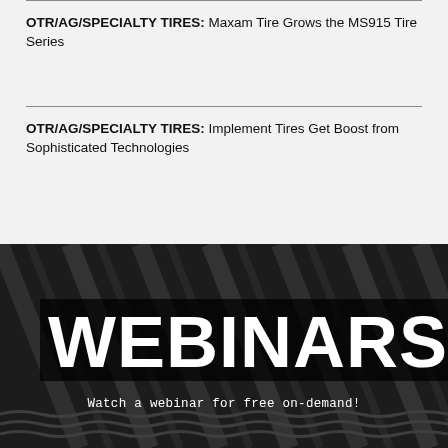OTR/AG/SPECIALTY TIRES: Maxam Tire Grows the MS915 Tire Series
OTR/AG/SPECIALTY TIRES: Implement Tires Get Boost from Sophisticated Technologies
[Figure (photo): Black and white close-up of tire treads with WEBINARS text overlay and caption 'Watch a webinar for free on-demand!']